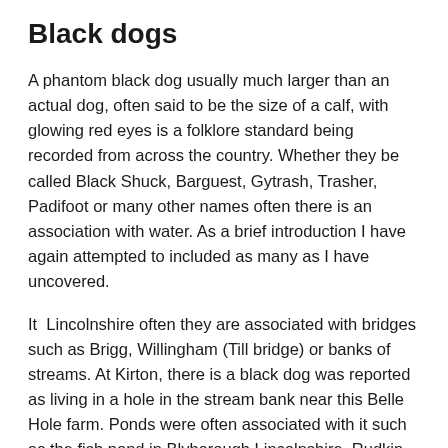Black dogs
A phantom black dog usually much larger than an actual dog, often said to be the size of a calf, with glowing red eyes is a folklore standard being recorded from across the country. Whether they be called Black Shuck, Barguest, Gytrash, Trasher, Padifoot or many other names often there is an association with water. As a brief introduction I have again attempted to included as many as I have uncovered.
It  Lincolnshire often they are associated with bridges such as Brigg, Willingham (Till bridge) or banks of streams. At Kirton, there is a black dog was reported as living in a hole in the stream bank near this Belle Hole farm. Ponds were often associated with it such as the fish pond in Blyborough Lincolnshire. Rudkin in her 1937 Lincolnshire